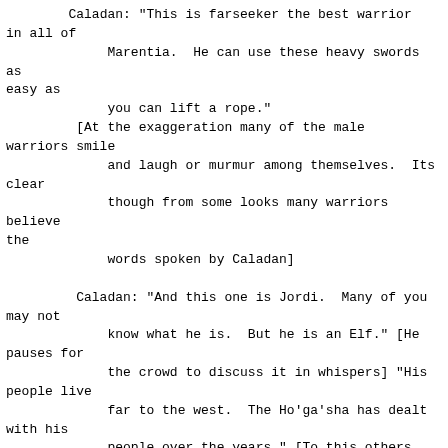Caladan: "This is farseeker the best warrior
in all of
             Marentia.  He can use these heavy swords as
easy as
             you can lift a rope."
         [At the exaggeration many of the male
warriors smile
             and laugh or murmur among themselves.  Its
clear
             though from some looks many warriors believe
the
             words spoken by Caladan]

         Caladan: "And this one is Jordi.  Many of you
may not
             know what he is.  But he is an Elf." [He
pauses for
             the crowd to discuss it in whispers] "His
people live
             far to the west.  The Ho'ga'sha has dealt
with his
             people over the years." [To this others
murmur among
             themselves hearing the great chief spoken
of.] "There
             is nothing to be afraid of him.  His
bravery and
             courage is beyond most other men.  His
people work
             with nature and the spirits.  They are